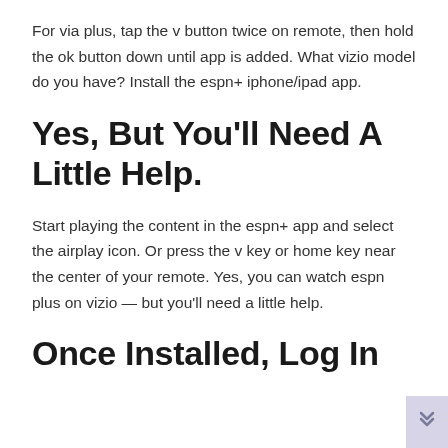For via plus, tap the v button twice on remote, then hold the ok button down until app is added. What vizio model do you have? Install the espn+ iphone/ipad app.
Yes, But You'll Need A Little Help.
Start playing the content in the espn+ app and select the airplay icon. Or press the v key or home key near the center of your remote. Yes, you can watch espn plus on vizio — but you'll need a little help.
Once Installed, Log In